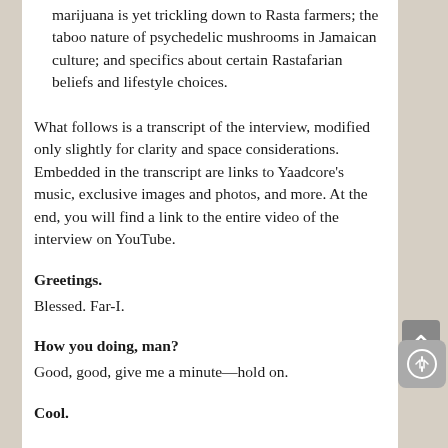marijuana is yet trickling down to Rasta farmers; the taboo nature of psychedelic mushrooms in Jamaican culture; and specifics about certain Rastafarian beliefs and lifestyle choices.
What follows is a transcript of the interview, modified only slightly for clarity and space considerations. Embedded in the transcript are links to Yaadcore’s music, exclusive images and photos, and more. At the end, you will find a link to the entire video of the interview on YouTube.
Greetings.
Blessed. Far-I.
How you doing, man?
Good, good, give me a minute—hold on.
Cool.